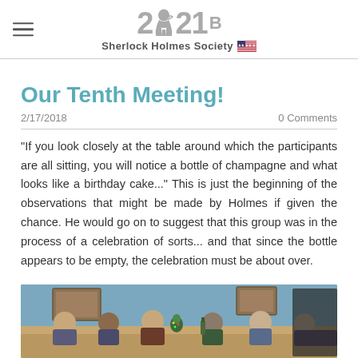221B Sherlock Holmes Society
Our Tenth Meeting!
2/17/2018
0 Comments
"If you look closely at the table around which the participants are all sitting, you will notice a bottle of champagne and what looks like a birthday cake..." This is just the beginning of the observations that might be made by Holmes if given the chance. He would go on to suggest that this group was in the process of a celebration of sorts... and that since the bottle appears to be empty, the celebration must be about over.
[Figure (photo): Group photo of Sherlock Holmes Society meeting members seated around a table in a blue-walled room]